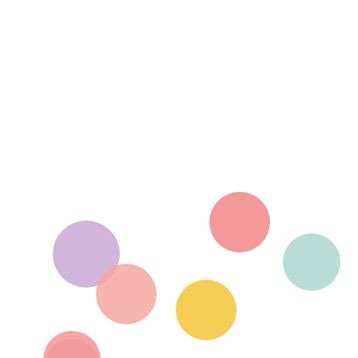[Figure (illustration): Decorative illustration with pastel colored circles (dots) scattered across the lower portion of a white background. Colors include pink, salmon/coral, lavender/purple, yellow, teal/mint, light pink, and light blue. The circles are of varying sizes and partially cut off at the bottom edge.]